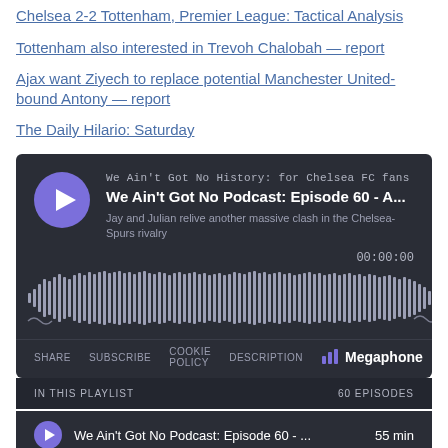Chelsea 2-2 Tottenham, Premier League: Tactical Analysis
Tottenham also interested in Trevoh Chalobah — report
Ajax want Ziyech to replace potential Manchester United-bound Antony — report
The Daily Hilario: Saturday
[Figure (screenshot): Megaphone podcast player embed showing 'We Ain't Got No Podcast: Episode 60 - A...' with waveform, play button, share/subscribe/cookie policy/description controls, and playlist showing 60 episodes.]